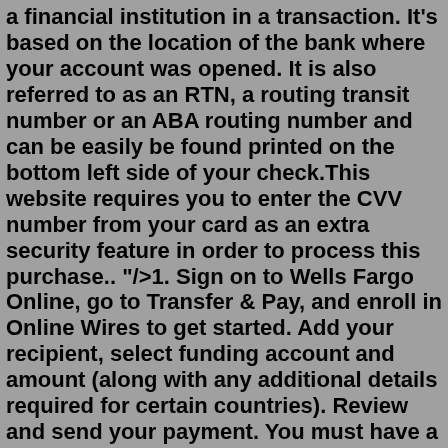a financial institution in a transaction. It's based on the location of the bank where your account was opened. It is also referred to as an RTN, a routing transit number or an ABA routing number and can be easily be found printed on the bottom left side of your check.This website requires you to enter the CVV number from your card as an extra security feature in order to process this purchase.. "/>1. Sign on to Wells Fargo Online, go to Transfer & Pay, and enroll in Online Wires to get started. Add your recipient, select funding account and amount (along with any additional details required for certain countries). Review and send your payment. You must have a current residence in the United States to send an online wire.Dec 04, 2021 · The Wells Fargo routing number is a unique nine-digit number typically found on the bottom of a check, identifying the financial institution where it was issued or printed. Grab any check you have within reach! Take a look at the bottom-left corner and identify the 9-digit sequence. The number to the bottom-center is the account